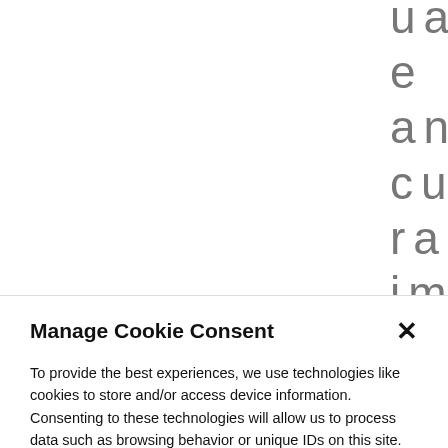uage and cultural imm ersi
Manage Cookie Consent
To provide the best experiences, we use technologies like cookies to store and/or access device information. Consenting to these technologies will allow us to process data such as browsing behavior or unique IDs on this site. Not consenting or withdrawing consent, may adversely affect certain features and functions.
Accept
View preferences
Cookie Policy   Legal information and privacy policy